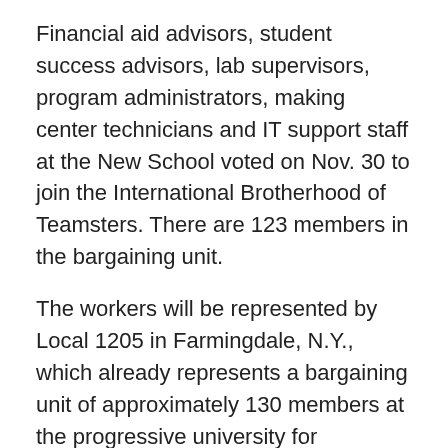Financial aid advisors, student success advisors, lab supervisors, program administrators, making center technicians and IT support staff at the New School voted on Nov. 30 to join the International Brotherhood of Teamsters. There are 123 members in the bargaining unit.
The workers will be represented by Local 1205 in Farmingdale, N.Y., which already represents a bargaining unit of approximately 130 members at the progressive university for designers, architects, activists, musicians and others. The victory was certified on Dec. 8.
“We had a big advantage going into this election because many of these workers had already been Teamsters,” said Dan DeCrotie, President of Local 1205. “They had worked in the bargaining unit we currently represent and knew we could help